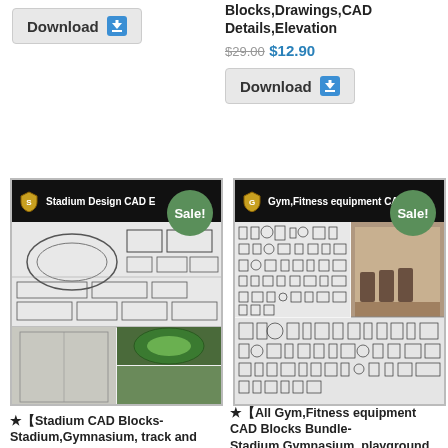Download
Blocks,Drawings,CAD Details,Elevation
$29.00 $12.90
Download
[Figure (illustration): Stadium Design CAD Blocks product thumbnail showing CAD drawings of stadium layouts, track, basketball courts, and stadium photos]
[Figure (illustration): Gym Fitness equipment CAD Blocks product thumbnail showing CAD symbols of gym equipment and a fitness center photo]
★【Stadium CAD Blocks-Stadium,Gymnasium, track and field, playground, sports hall @basketball court, tenni...
★【All Gym,Fitness equipment CAD Blocks Bundle-Stadium,Gymnasium, playground, sports hall...